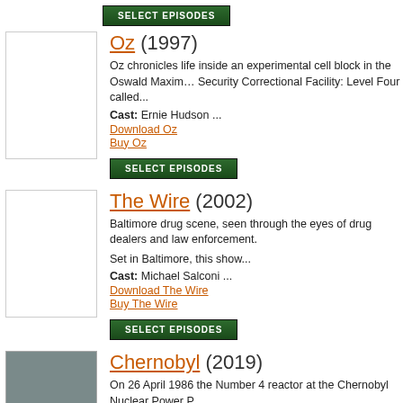[Figure (other): SELECT EPISODES button (top of page, partial view)]
[Figure (photo): Blank white thumbnail for Oz TV show]
Oz (1997)
Oz chronicles life inside an experimental cell block in the Oswald Maximum Security Correctional Facility: Level Four called...
Cast: Ernie Hudson ...
Download Oz
Buy Oz
[Figure (other): SELECT EPISODES button for Oz]
[Figure (photo): Blank white thumbnail for The Wire TV show]
The Wire (2002)
Baltimore drug scene, seen through the eyes of drug dealers and law enforcement.
Set in Baltimore, this show...
Cast: Michael Salconi ...
Download The Wire
Buy The Wire
[Figure (other): SELECT EPISODES button for The Wire]
[Figure (photo): Chernobyl TV show thumbnail with dark background and CHERNOBYL text]
Chernobyl (2019)
On 26 April 1986 the Number 4 reactor at the Chernobyl Nuclear Power P...